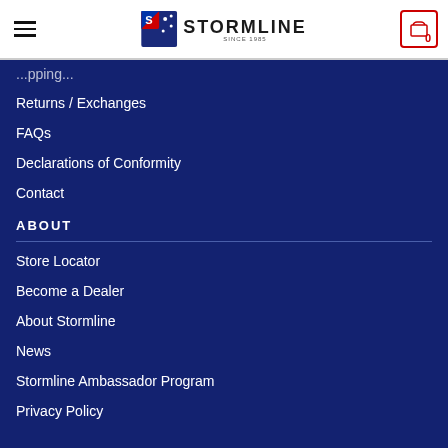Stormline navigation header with logo and cart
...pping...
Returns / Exchanges
FAQs
Declarations of Conformity
Contact
ABOUT
Store Locator
Become a Dealer
About Stormline
News
Stormline Ambassador Program
Privacy Policy